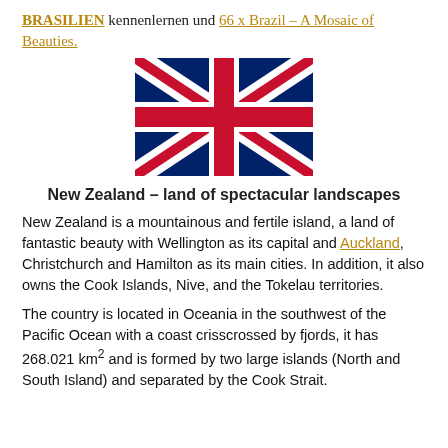BRASILIEN kennenlernen und 66 x Brazil – A Mosaic of Beauties.
[Figure (illustration): Union Jack flag of New Zealand / United Kingdom]
New Zealand – land of spectacular landscapes
New Zealand is a mountainous and fertile island, a land of fantastic beauty with Wellington as its capital and Auckland, Christchurch and Hamilton as its main cities. In addition, it also owns the Cook Islands, Nive, and the Tokelau territories.
The country is located in Oceania in the southwest of the Pacific Ocean with a coast crisscrossed by fjords, it has 268.021 km² and is formed by two large islands (North and South Island) and separated by the Cook Strait.